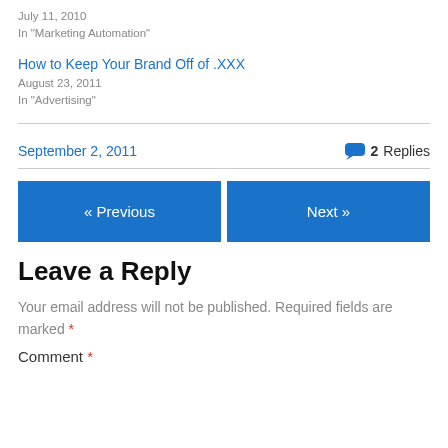July 11, 2010
In "Marketing Automation"
How to Keep Your Brand Off of .XXX
August 23, 2011
In "Advertising"
September 2, 2011
2 Replies
« Previous
Next »
Leave a Reply
Your email address will not be published. Required fields are marked *
Comment *